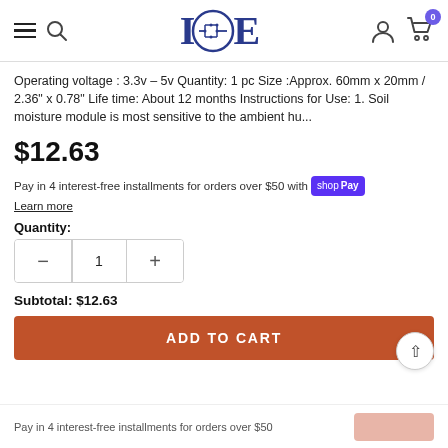ICE store header with hamburger menu, search icon, logo, user icon, and cart (0)
Operating voltage : 3.3v – 5v Quantity: 1 pc Size :Approx. 60mm x 20mm / 2.36" x 0.78" Life time: About 12 months Instructions for Use: 1. Soil moisture module is most sensitive to the ambient hu...
$12.63
Pay in 4 interest-free installments for orders over $50 with shop Pay
Learn more
Quantity:
1
Subtotal: $12.63
ADD TO CART
Pay in 4 interest-free installments for orders over $50